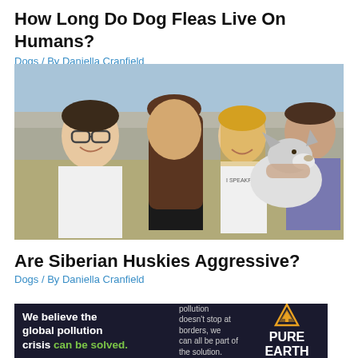How Long Do Dog Fleas Live On Humans?
Dogs / By Daniella Cranfield
[Figure (photo): Family selfie photo showing two adult women, a young girl, and a man posing together with a Siberian Husky dog. They are smiling outdoors. The girl is wearing a shirt that says 'I SPEAKFLUENT'.]
Are Siberian Huskies Aggressive?
Dogs / By Daniella Cranfield
[Figure (infographic): Advertisement banner for Pure Earth. Left text: 'We believe the global pollution crisis can be solved.' Middle text: 'In a world where pollution doesn't stop at borders, we can all be part of the solution. JOIN US.' Right: Pure Earth logo with diamond/triangle icon.]